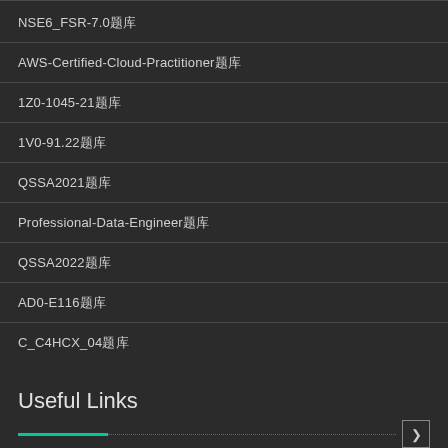NSE6_FSR-7.0题库
AWS-Certified-Cloud-Practitioner题库
1Z0-1045-21题库
1V0-91.22题库
QSSA2021题库
Professional-Data-Engineer题库
QSSA2022题库
AD0-E116题库
C_C4HCX_04题库
Useful Links